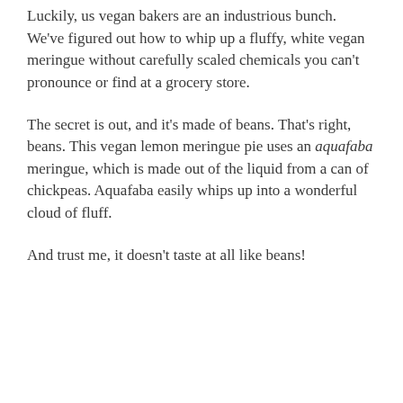Luckily, us vegan bakers are an industrious bunch. We've figured out how to whip up a fluffy, white vegan meringue without carefully scaled chemicals you can't pronounce or find at a grocery store.
The secret is out, and it's made of beans. That's right, beans. This vegan lemon meringue pie uses an aquafaba meringue, which is made out of the liquid from a can of chickpeas. Aquafaba easily whips up into a wonderful cloud of fluff.
And trust me, it doesn't taste at all like beans!